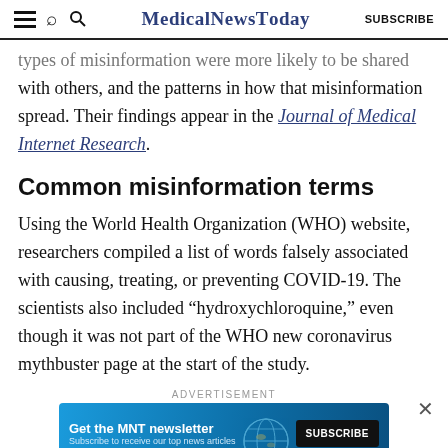MedicalNewsToday  SUBSCRIBE
types of misinformation were more likely to be shared with others, and the patterns in how that misinformation spread. Their findings appear in the Journal of Medical Internet Research.
Common misinformation terms
Using the World Health Organization (WHO) website, researchers compiled a list of words falsely associated with causing, treating, or preventing COVID-19. The scientists also included “hydroxychloroquine,” even though it was not part of the WHO new coronavirus mythbuster page at the start of the study.
ADVERTISEMENT
[Figure (infographic): MNT newsletter subscription advertisement banner with subscribe button]